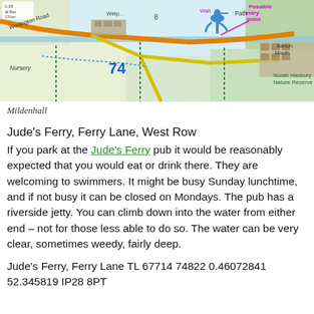[Figure (map): Ordnance Survey style topographic map showing Mildenhall area, West Row, Worlington Road, Nursery, Norah Hanbury Nature Reserve, Barton Mouth, number 74 marked in blue, handwritten annotations including 'Possible entry point', path markings, and a blue bird illustration.]
Mildenhall
Jude’s Ferry, Ferry Lane, West Row
If you park at the Jude’s Ferry pub it would be reasonably expected that you would eat or drink there. They are welcoming to swimmers. It might be busy Sunday lunchtime, and if not busy it can be closed on Mondays. The pub has a riverside jetty. You can climb down into the water from either end – not for those less able to do so. The water can be very clear, sometimes weedy, fairly deep.
Jude’s Ferry, Ferry Lane TL 67714 74822 0.46072841 52.345819 IP28 8PT